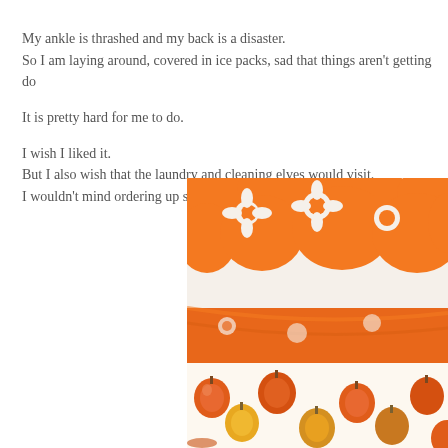My ankle is thrashed and my back is a disaster.
So I am laying around, covered in ice packs, sad that things aren't getting do

It is pretty hard for me to do.

I wish I liked it.
But I also wish that the laundry and cleaning elves would visit.
I wouldn't mind ordering up some sewing elves too.
[Figure (photo): Close-up photograph of folded orange and white floral patterned fabric on top, with orange and yellow apple-patterned fabric below.]